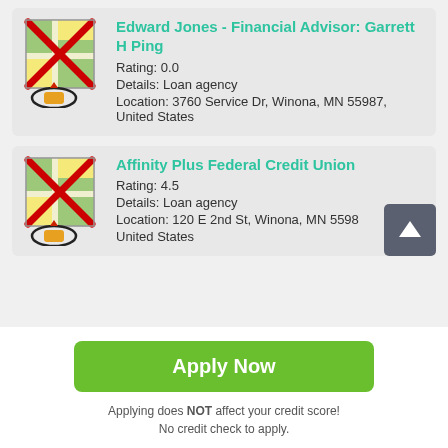[Figure (screenshot): Map icon with red X and navigation marker, for Edward Jones listing]
Edward Jones - Financial Advisor: Garrett H Ping
Rating: 0.0
Details: Loan agency
Location: 3760 Service Dr, Winona, MN 55987, United States
[Figure (screenshot): Map icon with red X and navigation marker, for Affinity Plus Federal Credit Union listing]
Affinity Plus Federal Credit Union
Rating: 4.5
Details: Loan agency
Location: 120 E 2nd St, Winona, MN 5598... United States
Apply Now
Applying does NOT affect your credit score!
No credit check to apply.